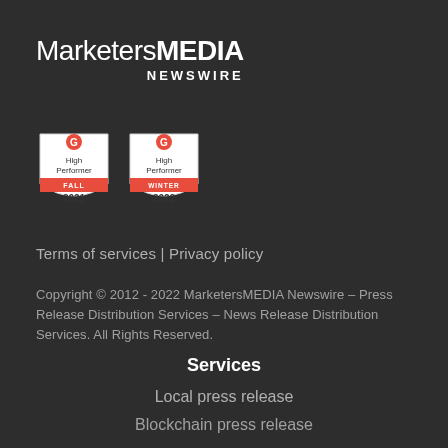MarketersMEDIA NEWSWIRE
[Figure (logo): Two G2 High Performer badges: FALL 2021 and WINTER 2022]
Terms of services | Privacy policy
Copyright © 2012 - 2022 MarketersMEDIA Newswire – Press Release Distribution Services – News Release Distribution Services. All Rights Reserved.
Services
Local press release
Blockchain press release